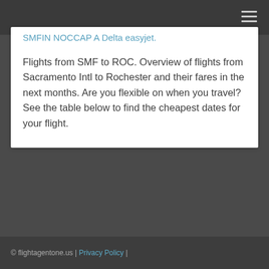© flightagentone.us | Privacy Policy |
Flights from SMF to ROC. Overview of flights from Sacramento Intl to Rochester and their fares in the next months. Are you flexible on when you travel? See the table below to find the cheapest dates for your flight.
© flightagentone.us | Privacy Policy |